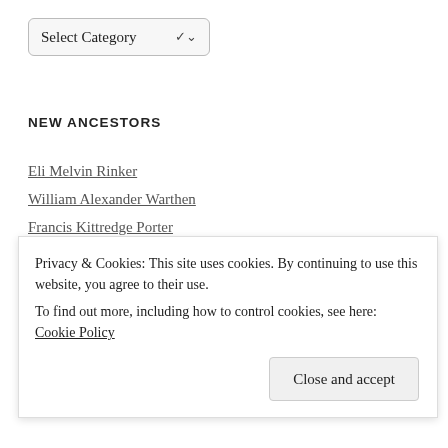[Figure (screenshot): Dropdown select box labeled 'Select Category' with a chevron arrow]
NEW ANCESTORS
Eli Melvin Rinker
William Alexander Warthen
Francis Kittredge Porter
Jeremiah Conwell
John Wesley Osburn
Lewis Gould Adkinson
Mary Almira Osburn
Privacy & Cookies: This site uses cookies. By continuing to use this website, you agree to their use.
To find out more, including how to control cookies, see here: Cookie Policy
Close and accept